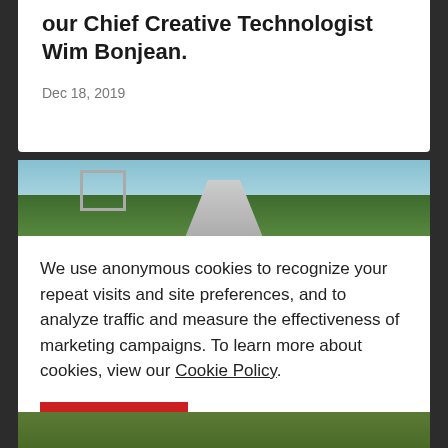our Chief Creative Technologist Wim Bonjean.
Dec 18, 2019
[Figure (photo): Outdoor road scene with trees and greenery, a road sign visible on the left, a path leading through green landscape]
We use anonymous cookies to recognize your repeat visits and site preferences, and to analyze traffic and measure the effectiveness of marketing campaigns. To learn more about cookies, view our Cookie Policy.
OK
[Figure (photo): Bottom strip showing green grass/vegetation]